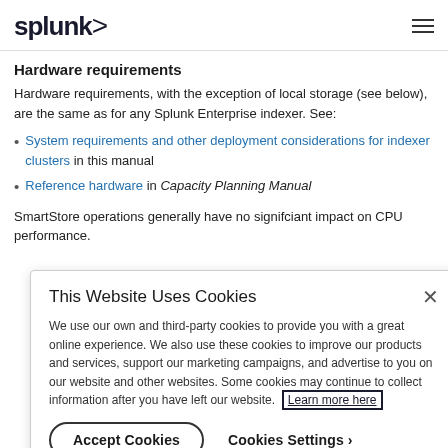splunk>
Hardware requirements
Hardware requirements, with the exception of local storage (see below), are the same as for any Splunk Enterprise indexer. See:
System requirements and other deployment considerations for indexer clusters in this manual
Reference hardware in Capacity Planning Manual
SmartStore operations generally have no signifciant impact on CPU performance.
This Website Uses Cookies
We use our own and third-party cookies to provide you with a great online experience. We also use these cookies to improve our products and services, support our marketing campaigns, and advertise to you on our website and other websites. Some cookies may continue to collect information after you have left our website. Learn more here
Accept Cookies
Cookies Settings ›